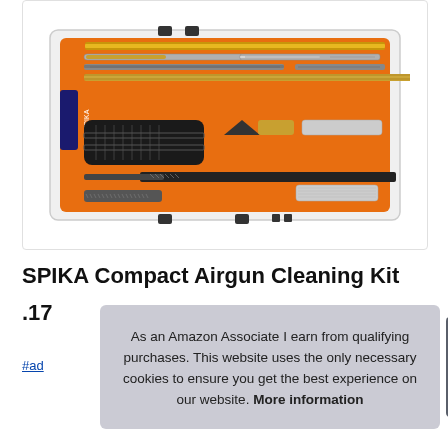[Figure (photo): SPIKA compact airgun cleaning kit in orange plastic case with various cleaning rods, brushes, and accessories]
SPIKA Compact Airgun Cleaning Kit
.17
#ad
As an Amazon Associate I earn from qualifying purchases. This website uses the only necessary cookies to ensure you get the best experience on our website. More information